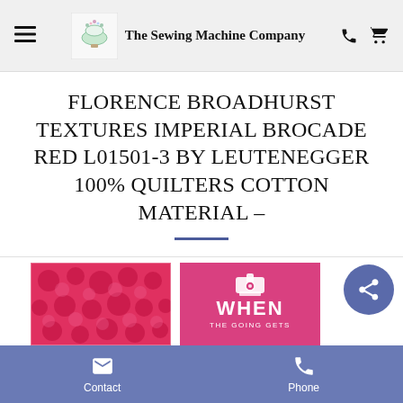The Sewing Machine Company
FLORENCE BROADHURST TEXTURES IMPERIAL BROCADE RED L01501-3 BY LEUTENEGGER 100% QUILTERS COTTON MATERIAL –
[Figure (photo): Product image of red floral brocade fabric]
[Figure (illustration): Pink card with sewing machine icon and text WHEN THE GOING GETS]
Contact    Phone